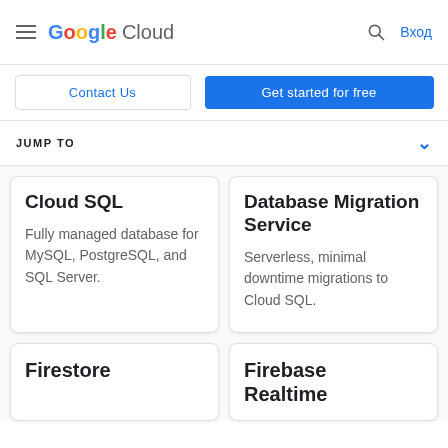Google Cloud — Вход
Contact Us
Get started for free
JUMP TO
Cloud SQL
Fully managed database for MySQL, PostgreSQL, and SQL Server.
Database Migration Service
Serverless, minimal downtime migrations to Cloud SQL.
Firestore
Firebase Realtime